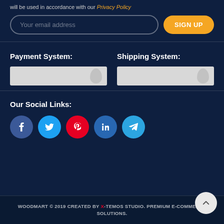will be used in accordance with our Privacy Policy
Your email address
SIGN UP
Payment System:
Shipping System:
Our Social Links:
[Figure (infographic): Social media icon buttons: Facebook (dark blue), Twitter (light blue), Pinterest (red), LinkedIn (blue), Telegram (cyan)]
WOODMART © 2019 CREATED BY X-TEMOS STUDIO. PREMIUM E-COMMERCE SOLUTIONS.